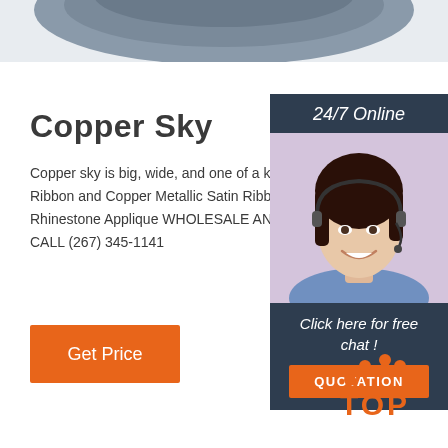[Figure (photo): Partial view of a person wearing a cowboy hat, cropped at top of page]
Copper Sky
Copper sky is big, wide, and one of a kind. Masala S Ribbon and Copper Metallic Satin Ribbon with Clear Rhinestone Applique WHOLESALE AND BULK ORI CALL (267) 345-1141
[Figure (illustration): Orange Get Price button]
[Figure (illustration): Right side panel with 24/7 Online header, customer service representative photo, Click here for free chat text, and orange QUOTATION button]
[Figure (logo): Orange TOP logo with dots arranged in an arch above the text TOP]